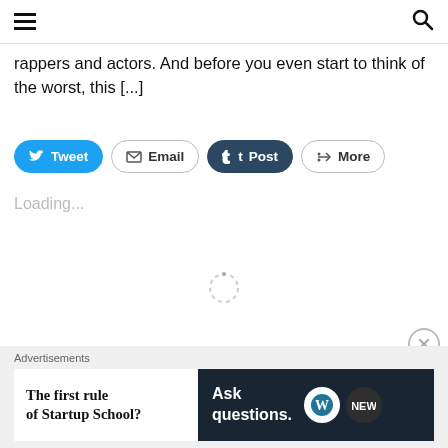Menu / Search icons
rappers and actors. And before you even start to think of the worst, this [...]
[Figure (infographic): Social share buttons row: Tweet (blue), Email (outline), Post/Tumblr (dark), More (outline with share icon)]
Loading...
[Figure (infographic): Loading spinner (circular dashed ring) centered on page]
[Figure (infographic): Close/dismiss button (circle with X) at bottom right]
Advertisements
[Figure (infographic): Advertisement banner: left white panel 'The first rule of Startup School?' and right dark panel 'Ask questions.' with WordPress and blog logos]